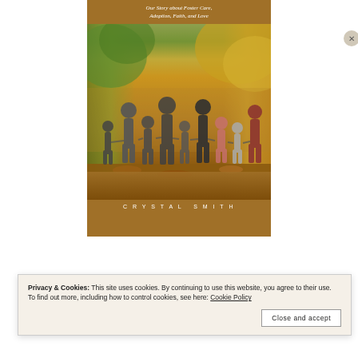[Figure (photo): Book cover for a memoir by Crystal Smith. The cover has a warm brown/gold background at top and bottom. The subtitle reads 'Our Story about Foster Care, Adoption, Faith, and Love' in italic white text. The center shows a photograph of a large family — adults and many children of various ages — walking hand-in-hand, viewed from behind, through an autumn forest with colorful fall foliage and leaves on the ground. The author name 'CRYSTAL SMITH' appears at the bottom in spaced white capital letters.]
Privacy & Cookies: This site uses cookies. By continuing to use this website, you agree to their use.
To find out more, including how to control cookies, see here: Cookie Policy